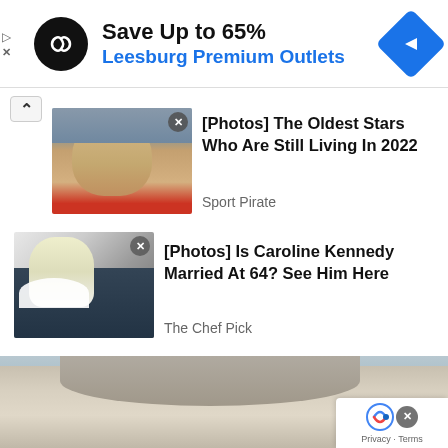[Figure (infographic): Advertisement banner: black circular logo with infinity-like symbol, text 'Save Up to 65%' in black bold, 'Leesburg Premium Outlets' in blue bold, blue diamond navigation icon on the right]
[Photos] The Oldest Stars Who Are Still Living In 2022
Sport Pirate
[Photos] Is Caroline Kennedy Married At 64? See Him Here
The Chef Pick
[Figure (photo): Close-up photo of elderly man in red shirt]
[Figure (photo): Wedding photo of woman in white dress with man in dark suit]
[Figure (photo): Partial photo showing close-up of person with white/grey hair]
Privacy · Terms